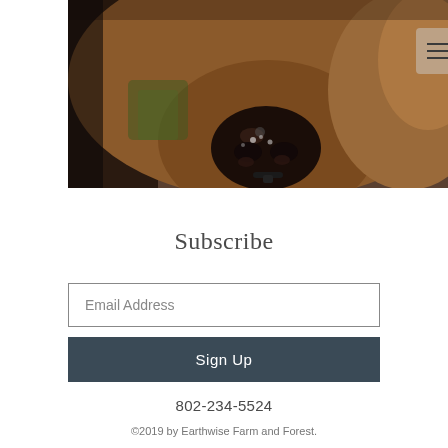[Figure (photo): Close-up photograph of a brown Jersey cow's face and nose, with green foliage visible in the background. A hamburger/menu icon button is overlaid in the upper right area of the image.]
Subscribe
Email Address
Sign Up
802-234-5524
©2019 by Earthwise Farm and Forest.